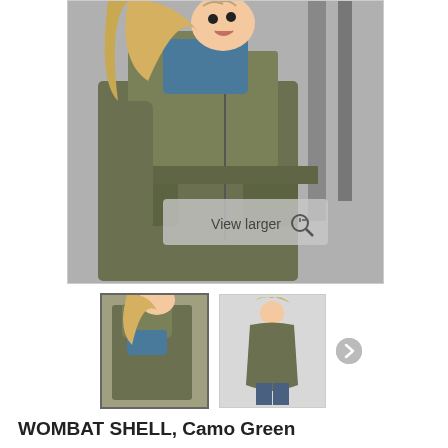[Figure (photo): Main product photo: woman wearing olive/camo green Wombat Shell jacket with baby's head visible at top, outdoors setting. Shows 'View larger' overlay button at bottom center.]
[Figure (photo): Thumbnail 1 (active/selected): close-up of woman wearing the camo green jacket with baby carrier feature.]
[Figure (photo): Thumbnail 2: full-length view of woman wearing the camo green Wombat Shell jacket, standing pose.]
WOMBAT SHELL, Camo Green
WOMBAT SHELL is an all-year round pregnancy and